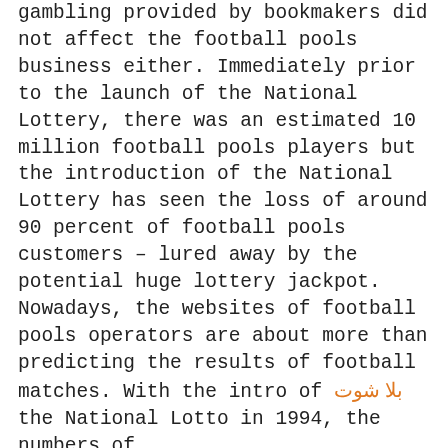gambling provided by bookmakers did not affect the football pools business either. Immediately prior to the launch of the National Lottery, there was an estimated 10 million football pools players but the introduction of the National Lottery has seen the loss of around 90 percent of football pools customers – lured away by the potential huge lottery jackpot. Nowadays, the websites of football pools operators are about more than predicting the results of football matches.

With the intro of بلا شوت the National Lotto in 1994, the numbers of